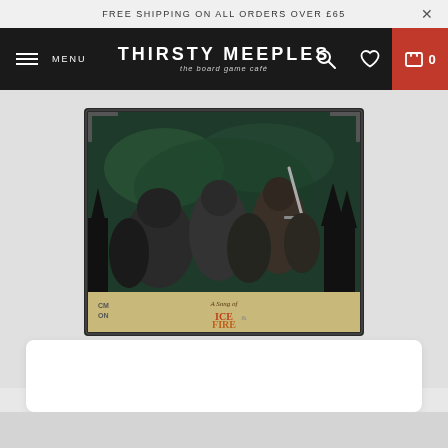FREE SHIPPING ON ALL ORDERS OVER £65
[Figure (screenshot): Thirsty Meeples board game café website navigation bar with hamburger menu, logo, search icon, wishlist icon, and red cart button showing 0 items]
[Figure (photo): A Song of Ice and Fire board game box featuring dark fantasy artwork of armored warriors/wildlings in a forest setting with CMON branding]
[Figure (screenshot): White product detail card area below the product image, partially visible at bottom of page]